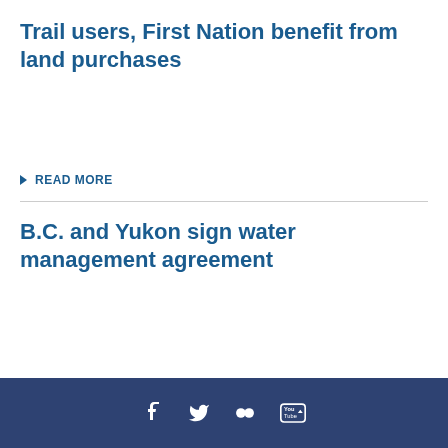Trail users, First Nation benefit from land purchases
READ MORE
B.C. and Yukon sign water management agreement
[Figure (infographic): Social media icons: Facebook, Twitter, Flickr, YouTube on dark blue footer bar]